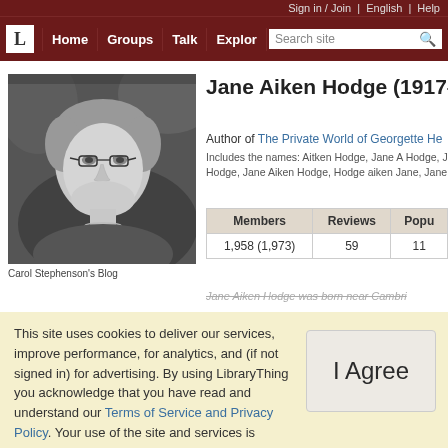Sign in / Join | English | Help
L | Home | Groups | Talk | Explore | Search site
[Figure (photo): Black and white portrait photo of Jane Aiken Hodge, an elderly woman wearing glasses, smiling]
Carol Stephenson's Blog
Jane Aiken Hodge (1917–20…)
Author of The Private World of Georgette He…
Includes the names: Aitken Hodge, Jane A Hodge, J… Hodge, Jane Aiken Hodge, Hodge aiken Jane, Jane…
| Members | Reviews | Popu… |
| --- | --- | --- |
| 1,958 (1,973) | 59 | 11… |
Jane Aiken Hodge was born near Cambri…
This site uses cookies to deliver our services, improve performance, for analytics, and (if not signed in) for advertising. By using LibraryThing you acknowledge that you have read and understand our Terms of Service and Privacy Policy. Your use of the site and services is subject to these policies and terms.